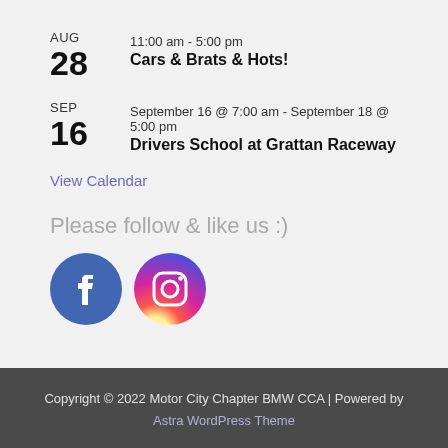AUG 28 — 11:00 am - 5:00 pm — Cars & Brats & Hots!
SEP 16 — September 16 @ 7:00 am - September 18 @ 5:00 pm — Drivers School at Grattan Raceway
View Calendar
Please follow & like us :)
[Figure (logo): Facebook and Instagram social media icons]
Copyright © 2022 Motor City Chapter BMW CCA | Powered by Astra WordPress Theme